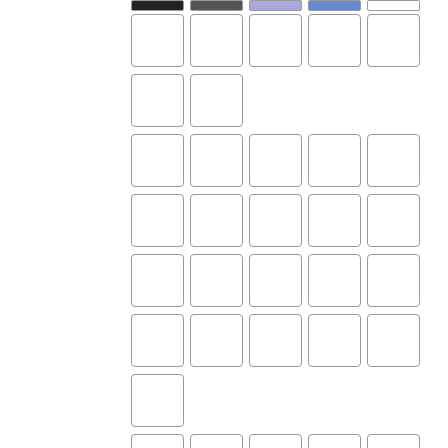[Figure (illustration): Grid layout of empty rounded-rectangle cells arranged in rows, with a partial top row containing small colored thumbnail stubs at the very top, followed by multiple rows of 5 blank cells each, then a row of 2 blank cells, and continuing with rows of 5 blank cells, a row with 1 cell, and a partial bottom row of 5 cells.]